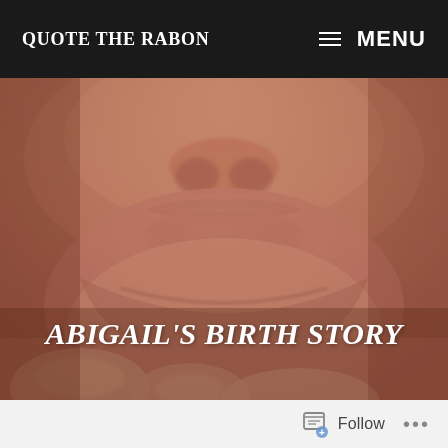QUOTE THE RABON | MENU
[Figure (photo): Close-up macro photograph of a newborn baby's lips and chin, with an adult hand/fingers visible at the bottom. The skin has a warm pinkish-brown tone. The image fills the main hero area of the blog page.]
ABIGAIL'S BIRTH STORY
Follow ...